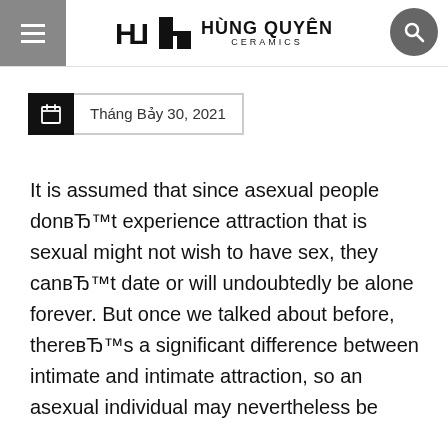HÙNG QUYÊN CERAMICS
Tháng Bảy 30, 2021
It is assumed that since asexual people donвЂ™t experience attraction that is sexual might not wish to have sex, they canвЂ™t date or will undoubtedly be alone forever. But once we talked about before, thereвЂ™s a significant difference between intimate and intimate attraction, so an asexual individual may nevertheless be